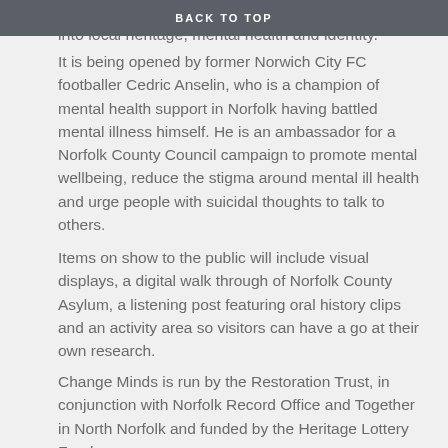Change Minds has provided a fascinating insight into local heritage, mental health and identity.
BACK TO TOP
It is being opened by former Norwich City FC footballer Cedric Anselin, who is a champion of mental health support in Norfolk having battled mental illness himself. He is an ambassador for a Norfolk County Council campaign to promote mental wellbeing, reduce the stigma around mental ill health and urge people with suicidal thoughts to talk to others.
Items on show to the public will include visual displays, a digital walk through of Norfolk County Asylum, a listening post featuring oral history clips and an activity area so visitors can have a go at their own research.
Change Minds is run by the Restoration Trust, in conjunction with Norfolk Record Office and Together in North Norfolk and funded by the Heritage Lottery Fund.